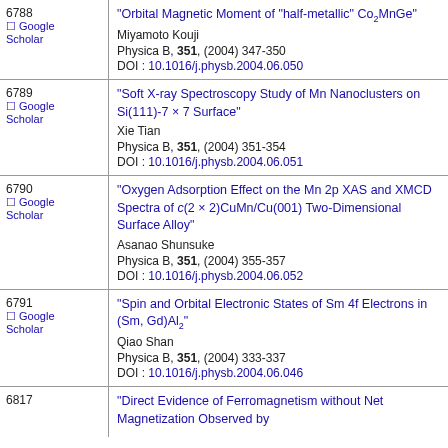| ID / Links | Entry |
| --- | --- |
| 6788
Google Scholar | "Orbital Magnetic Moment of "half-metallic" Co2MnGe"
Miyamoto Kouji
Physica B, 351, (2004) 347-350
DOI : 10.1016/j.physb.2004.06.050 |
| 6789
Google Scholar | "Soft X-ray Spectroscopy Study of Mn Nanoclusters on Si(111)-7 × 7 Surface"
Xie Tian
Physica B, 351, (2004) 351-354
DOI : 10.1016/j.physb.2004.06.051 |
| 6790
Google Scholar | "Oxygen Adsorption Effect on the Mn 2p XAS and XMCD Spectra of c(2 × 2)CuMn/Cu(001) Two-Dimensional Surface Alloy"
Asanao Shunsuke
Physica B, 351, (2004) 355-357
DOI : 10.1016/j.physb.2004.06.052 |
| 6791
Google Scholar | "Spin and Orbital Electronic States of Sm 4f Electrons in (Sm, Gd)Al2"
Qiao Shan
Physica B, 351, (2004) 333-337
DOI : 10.1016/j.physb.2004.06.046 |
| 6817
 | "Direct Evidence of Ferromagnetism without Net Magnetization Observed by |